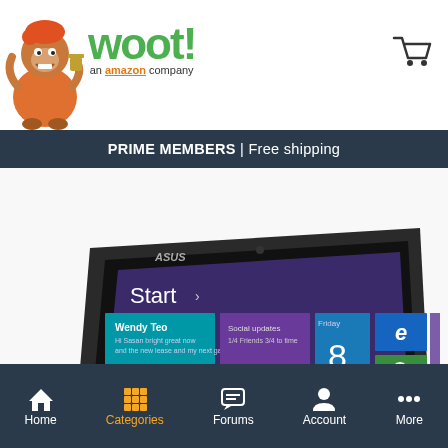woot! an amazon company
PRIME MEMBERS | Free shipping
[Figure (screenshot): ASUS tablet showing Windows 8 Start screen with colorful Metro tiles including Wendy Teo contact, calendar, Internet Explorer, Store, photos, People, Xbox, weather, and other app tiles]
Sold out
Home  Categories  Forums  Account  More